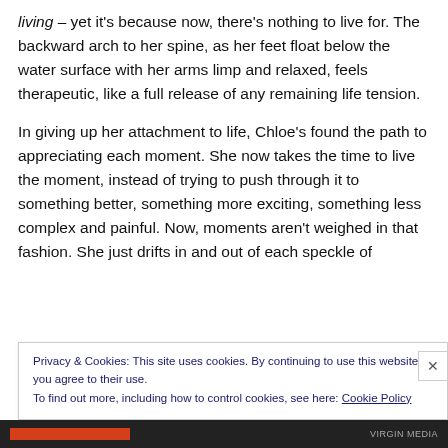living – yet it's because now, there's nothing to live for. The backward arch to her spine, as her feet float below the water surface with her arms limp and relaxed, feels therapeutic, like a full release of any remaining life tension.
In giving up her attachment to life, Chloe's found the path to appreciating each moment. She now takes the time to live the moment, instead of trying to push through it to something better, something more exciting, something less complex and painful. Now, moments aren't weighed in that fashion. She just drifts in and out of each speckle of
Privacy & Cookies: This site uses cookies. By continuing to use this website, you agree to their use.
To find out more, including how to control cookies, see here: Cookie Policy
Close and accept